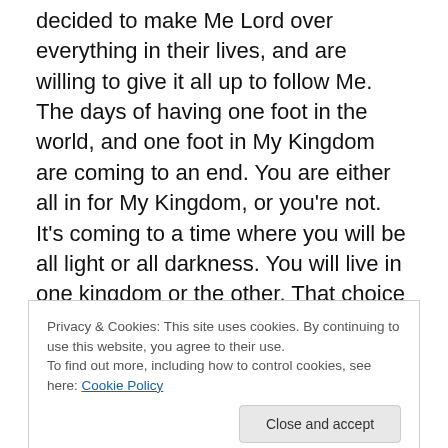decided to make Me Lord over everything in their lives, and are willing to give it all up to follow Me. The days of having one foot in the world, and one foot in My Kingdom are coming to an end. You are either all in for My Kingdom, or you're not. It's coming to a time where you will be all light or all darkness. You will live in one kingdom or the other. That choice is yours to make. I will lead those who are truly ready to receive a Kingdom Upgrade into their destinies. What I will give them will launch them into things that will be well beyond their expectations. You need to understand in the undertaking that I am leading
Privacy & Cookies: This site uses cookies. By continuing to use this website, you agree to their use.
To find out more, including how to control cookies, see here: Cookie Policy
Close and accept
are ready to receive what I have for you. I want you to